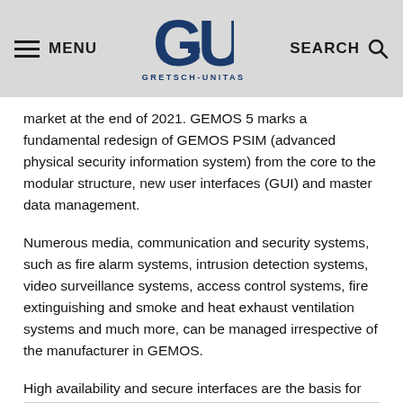MENU | GRETSCH-UNITAS | SEARCH
market at the end of 2021. GEMOS 5 marks a fundamental redesign of GEMOS PSIM (advanced physical security information system) from the core to the modular structure, new user interfaces (GUI) and master data management.
Numerous media, communication and security systems, such as fire alarm systems, intrusion detection systems, video surveillance systems, access control systems, fire extinguishing and smoke and heat exhaust ventilation systems and much more, can be managed irrespective of the manufacturer in GEMOS.
High availability and secure interfaces are the basis for the smooth-functioning linking of third-party systems to management systems. Intelligent GEMOS interfaces provide a separate driver for linking with every third-party system.